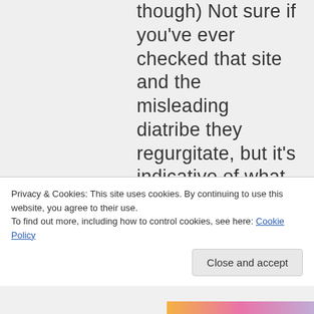though) Not sure if you've ever checked that site and the misleading diatribe they regurgitate, but it's indicative of what actually
Privacy & Cookies: This site uses cookies. By continuing to use this website, you agree to their use.
To find out more, including how to control cookies, see here: Cookie Policy